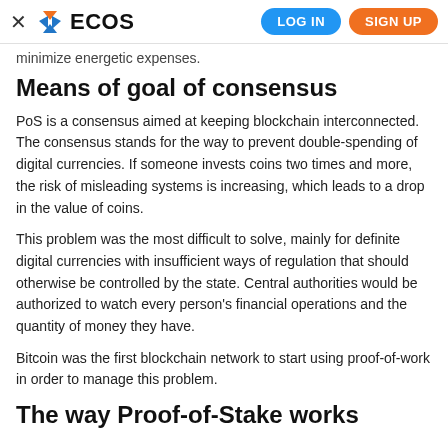× ECOS  LOG IN  SIGN UP
minimize energetic expenses.
Means of goal of consensus
PoS is a consensus aimed at keeping blockchain interconnected. The consensus stands for the way to prevent double-spending of digital currencies. If someone invests coins two times and more, the risk of misleading systems is increasing, which leads to a drop in the value of coins.
This problem was the most difficult to solve, mainly for definite digital currencies with insufficient ways of regulation that should otherwise be controlled by the state. Central authorities would be authorized to watch every person's financial operations and the quantity of money they have.
Bitcoin was the first blockchain network to start using proof-of-work in order to manage this problem.
The way Proof-of-Stake works